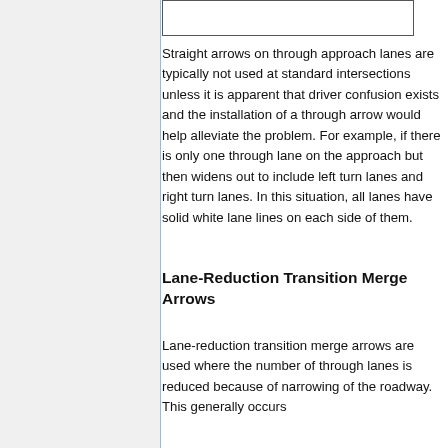[Figure (other): Image placeholder box at top of right column]
Straight arrows on through approach lanes are typically not used at standard intersections unless it is apparent that driver confusion exists and the installation of a through arrow would help alleviate the problem. For example, if there is only one through lane on the approach but then widens out to include left turn lanes and right turn lanes. In this situation, all lanes have solid white lane lines on each side of them.
Lane-Reduction Transition Merge Arrows
Lane-reduction transition merge arrows are used where the number of through lanes is reduced because of narrowing of the roadway. This generally occurs